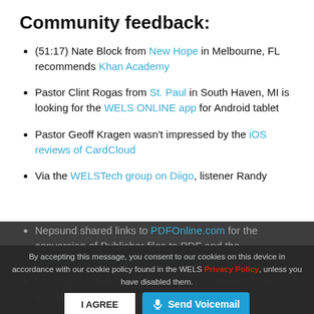Community feedback:
(51:17) Nate Block from New Hope in Melbourne, FL recommends Khan Academy
Pastor Clint Rogas from St. Paul in South Haven, MI is looking for the WELS ONLINE app for Android tablet
Pastor Geoff Kragen wasn't impressed by the iOS reviews of CardCloud
Via the WELSTech group on Diigo, listener Randy Nepsund shared links to PDFOnline.com for the conversion of Publisher files to PDF and the Technology Integration in Education site
Looking for church or school library software? Check out this list from WELSTech listserve:
By accepting this message, you consent to our cookies on this device in accordance with our cookie policy found in the WELS Privacy Policy, unless you have disabled them.